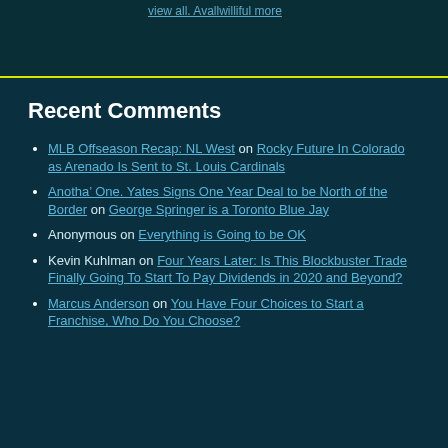Recent Comments
MLB Offseason Recap: NL West on Rocky Future In Colorado as Arenado Is Sent to St. Louis Cardinals
Anotha’ One. Yates Signs One Year Deal to be North of the Border on George Springer is a Toronto Blue Jay
Anonymous on Everything is Going to be OK
Kevin Kuhlman on Four Years Later: Is This Blockbuster Trade Finally Going To Start To Pay Dividends in 2020 and Beyond?
Marcus Anderson on You Have Four Choices to Start a Franchise, Who Do You Choose?